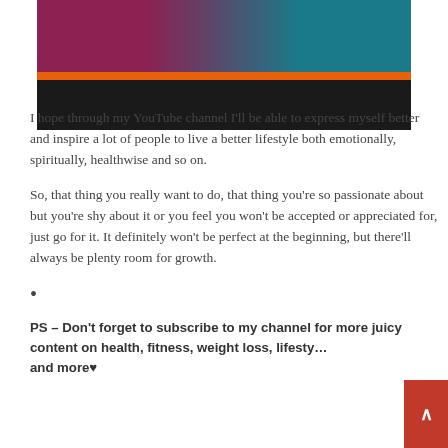[Figure (screenshot): Video thumbnail with a woman in teal top against a reddish background, with an orange progress bar and black lower portion of video player]
I hope through my YouTube channel I'll be able to express myself better and inspire a lot of people to live a better lifestyle both emotionally, spiritually, healthwise and so on.
So, that thing you really want to do, that thing you're so passionate about but you're shy about it or you feel you won't be accepted or appreciated for, just go for it. It definitely won't be perfect at the beginning, but there'll always be plenty room for growth.
•
PS – Don't forget to subscribe to my channel for more juicy content on health, fitness, weight loss, lifestyle and more♥